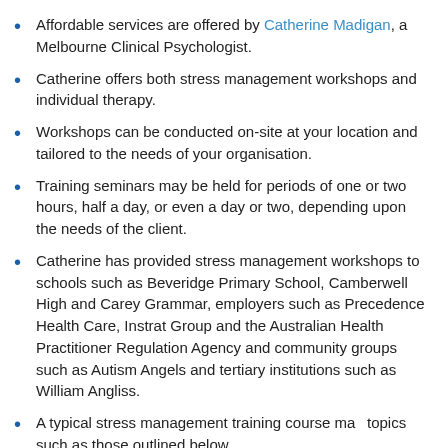Affordable services are offered by Catherine Madigan, a Melbourne Clinical Psychologist.
Catherine offers both stress management workshops and individual therapy.
Workshops can be conducted on-site at your location and tailored to the needs of your organisation.
Training seminars may be held for periods of one or two hours, half a day, or even a day or two, depending upon the needs of the client.
Catherine has provided stress management workshops to schools such as Beveridge Primary School, Camberwell High and Carey Grammar, employers such as Precedence Health Care, Instrat Group and the Australian Health Practitioner Regulation Agency and community groups such as Autism Angels and tertiary institutions such as William Angliss.
A typical stress management training course may topics such as those outlined below